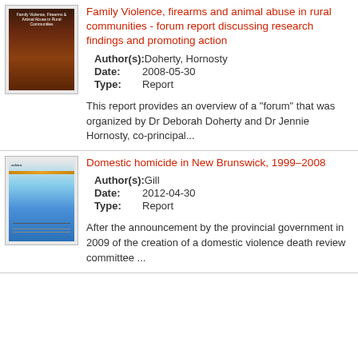Family Violence, firearms and animal abuse in rural communities - forum report discussing research findings and promoting action
Author(s): Doherty, Hornosty
Date: 2008-05-30
Type: Report
This report provides an overview of a "forum" that was organized by Dr Deborah Doherty and Dr Jennie Hornosty, co-principal...
Domestic homicide in New Brunswick, 1999–2008
Author(s): Gill
Date: 2012-04-30
Type: Report
After the announcement by the provincial government in 2009 of the creation of a domestic violence death review committee ...